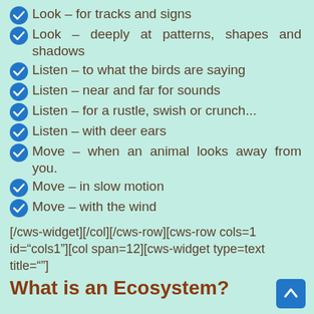Look – for tracks and signs
Look – deeply at patterns, shapes and shadows
Listen – to what the birds are saying
Listen – near and far for sounds
Listen – for a rustle, swish or crunch...
Listen – with deer ears
Move – when an animal looks away from you.
Move – in slow motion
Move – with the wind
[/cws-widget][/col][/cws-row][cws-row cols=1 id="cols1"][col span=12][cws-widget type=text title=""]
What is an Ecosystem?